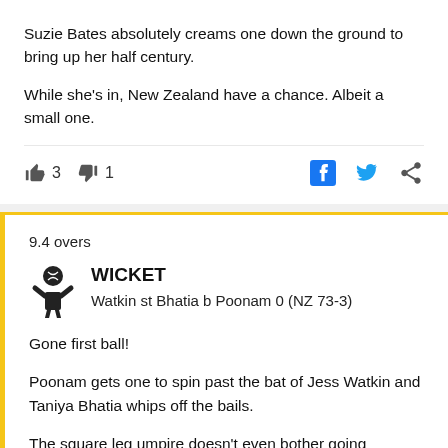Suzie Bates absolutely creams one down the ground to bring up her half century.

While she's in, New Zealand have a chance. Albeit a small one.
👍 3  👎 1
9.4 overs
WICKET
Watkin st Bhatia b Poonam 0 (NZ 73-3)
Gone first ball!
Poonam gets one to spin past the bat of Jess Watkin and Taniya Bhatia whips off the bails.
The square leg umpire doesn't even bother going